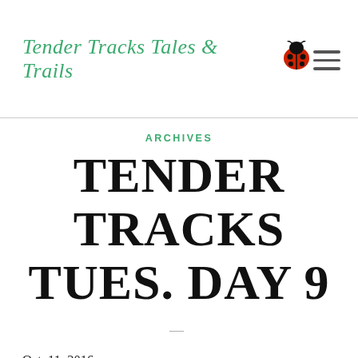Tender Tracks Tales & Trails
ARCHIVES
TENDER TRACKS TUES. DAY 9
Oct. 11, 2016
Waxing Moon
Roy's Redwoods
What a beautiful day we all had today! Each day now it is